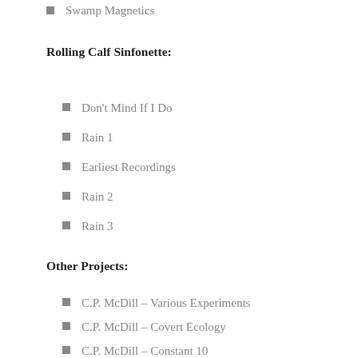Swamp Magnetics
Rolling Calf Sinfonette:
Don't Mind If I Do
Rain 1
Earliest Recordings
Rain 2
Rain 3
Other Projects:
C.P. McDill – Various Experiments
C.P. McDill – Covert Ecology
C.P. McDill – Constant 10
Rowboat Magicians – Strange